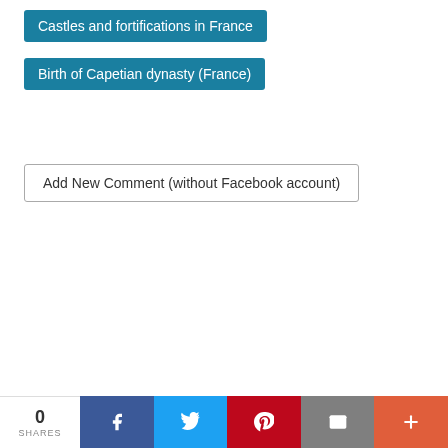Castles and fortifications in France
Birth of Capetian dynasty (France)
Add New Comment (without Facebook account)
0 SHARES | Facebook | Twitter | Pinterest | Email | More